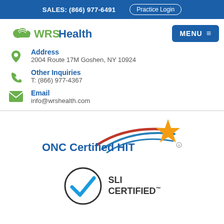SALES: (866) 977-6491   Practice Login
[Figure (logo): WRSHealth logo with cloud icon and MENU button]
Address
2004 Route 17M Goshen, NY 10924
Other Inquiries
T: (866) 977-4367
Email
info@wrshealth.com
[Figure (logo): ONC Certified HIT logo with swoosh lines and gold star]
[Figure (logo): SLI Certified logo with blue checkmark in circle]